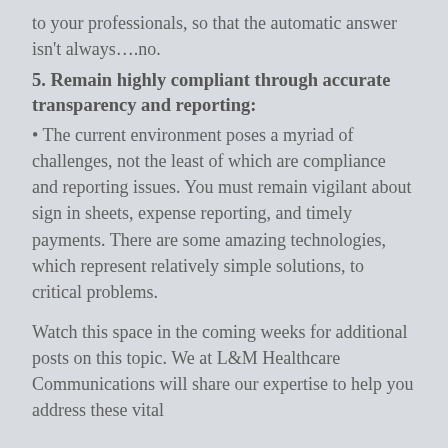to your professionals, so that the automatic answer isn't always….no.
5. Remain highly compliant through accurate transparency and reporting:
• The current environment poses a myriad of challenges, not the least of which are compliance and reporting issues. You must remain vigilant about sign in sheets, expense reporting, and timely payments. There are some amazing technologies, which represent relatively simple solutions, to critical problems.
Watch this space in the coming weeks for additional posts on this topic. We at L&M Healthcare Communications will share our expertise to help you address these vital